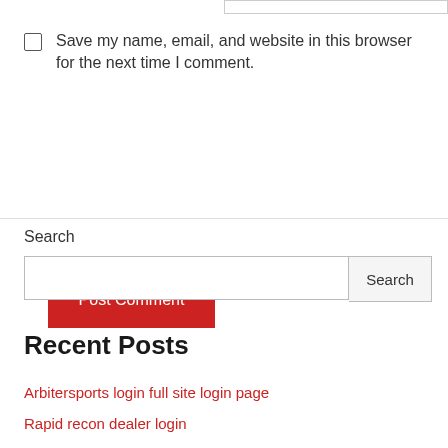Save my name, email, and website in this browser for the next time I comment.
Post Comment
Search
Recent Posts
Arbitersports login full site login page
Rapid recon dealer login